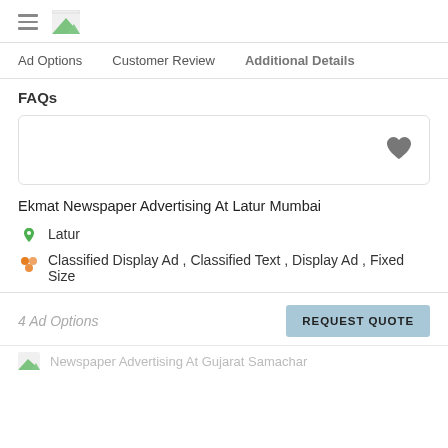Navigation header with hamburger menu and logo
Ad Options   Customer Review   Additional Details
FAQs
[Figure (other): Empty card with heart/favourite icon on the right]
Ekmat Newspaper Advertising At Latur Mumbai
Latur
Classified Display Ad , Classified Text , Display Ad , Fixed Size
4 Ad Options
Newspaper Advertising At Gujarat Samachar